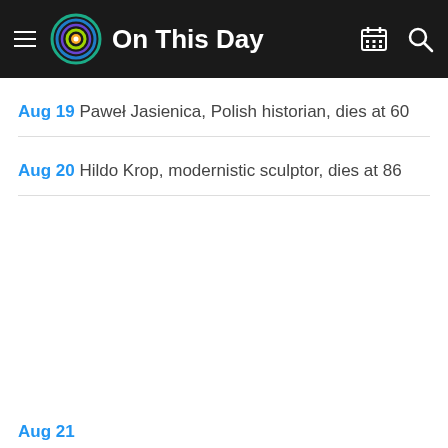On This Day
Aug 19 Paweł Jasienica, Polish historian, dies at 60
Aug 20 Hildo Krop, modernistic sculptor, dies at 86
Aug 21 Timothy Mather Cooley...